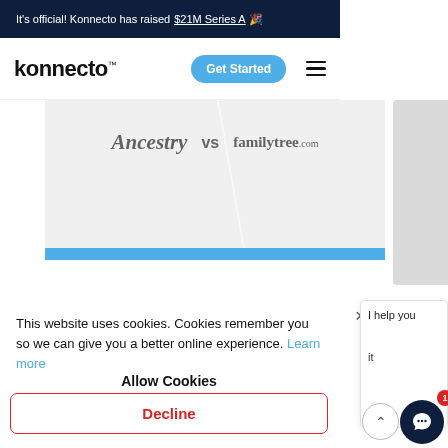It's official! Konnecto has raised $21M Series A 🎉
[Figure (screenshot): Konnecto website navbar with logo, Get Started button, and hamburger menu]
[Figure (screenshot): Comparison graphic showing Ancestry vs FamilyTree.com with blue bar]
This website uses cookies. Cookies remember you so we can give you a better online experience. Learn more
Allow Cookies
Decline
I help you
it